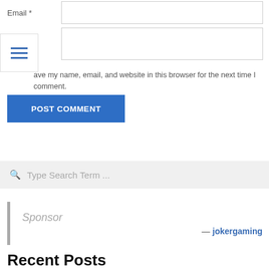Email *
Website
ave my name, email, and website in this browser for the next time I comment.
POST COMMENT
Type Search Term ...
Sponsor
— jokergaming
Recent Posts